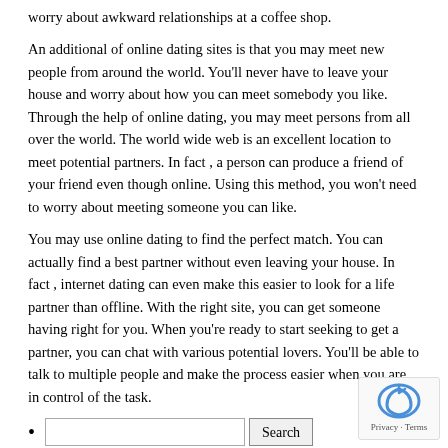worry about awkward relationships at a coffee shop.
An additional of online dating sites is that you may meet new people from around the world. You'll never have to leave your house and worry about how you can meet somebody you like. Through the help of online dating, you may meet persons from all over the world. The world wide web is an excellent location to meet potential partners. In fact , a person can produce a friend of your friend even though online. Using this method, you won't need to worry about meeting someone you can like.
You may use online dating to find the perfect match. You can actually find a best partner without even leaving your house. In fact , internet dating can even make this easier to look for a life partner than offline. With the right site, you can get someone having right for you. When you're ready to start seeking to get a partner, you can chat with various potential lovers. You'll be able to talk to multiple people and make the process easier when you are in control of the task.
Search [input field]
Pages
#1197 (no title)